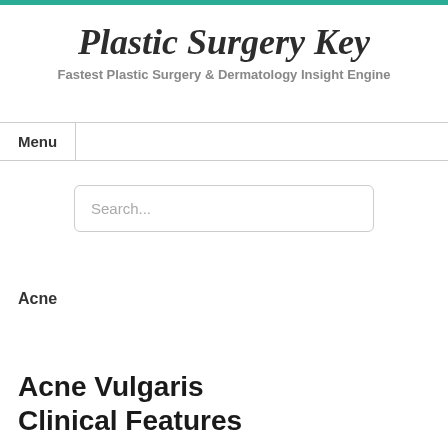Plastic Surgery Key
Fastest Plastic Surgery & Dermatology Insight Engine
Menu
Search...
Acne
Acne Vulgaris Clinical Features